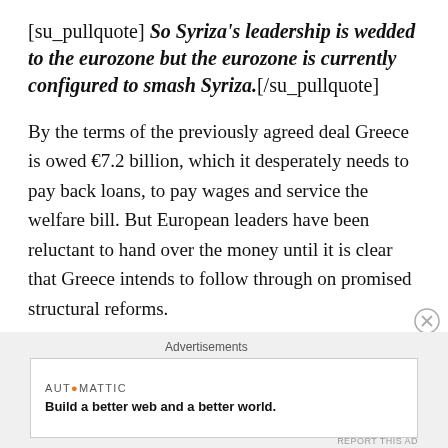[su_pullquote] So Syriza’s leadership is wedded to the eurozone but the eurozone is currently configured to smash Syriza.[/su_pullquote]
By the terms of the previously agreed deal Greece is owed €7.2 billion, which it desperately needs to pay back loans, to pay wages and service the welfare bill. But European leaders have been reluctant to hand over the money until it is clear that Greece intends to follow through on promised structural reforms.
Advertisements
[Figure (other): Automattic advertisement: 'Build a better web and a better world.']